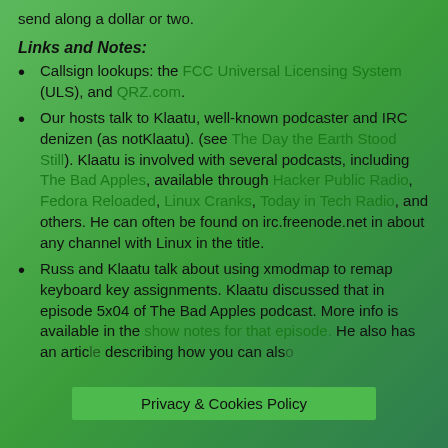send along a dollar or two.
Links and Notes:
Callsign lookups: the FCC Universal Licensing System (ULS), and QRZ.com.
Our hosts talk to Klaatu, well-known podcaster and IRC denizen (as notKlaatu). (see The Day the Earth Stood Still). Klaatu is involved with several podcasts, including The Bad Apples, available through Hacker Public Radio, Fedora Reloaded, Linux Cranks, Today in Tech Radio, and others. He can often be found on irc.freenode.net in about any channel with Linux in the title.
Russ and Klaatu talk about using xmodmap to remap keyboard key assignments. Klaatu discussed that in episode 5x04 of The Bad Apples podcast. More info is available in the show notes for that episode. He also has an article describing how you can als... to the
Privacy & Cookies Policy